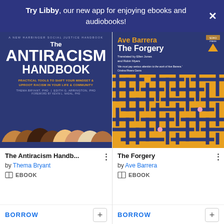Try Libby, our new app for enjoying ebooks and audiobooks!
[Figure (illustration): Book cover: The Antiracism Handbook - Practical Tools to Shift Your Mindset & Uproot Racism in Your Life & Community by Thema Bryant, PhD and Edith G. Arrington, PhD. Foreword by Kevin L. Nadal, PhD. Purple/blue background with diverse faces silhouettes at the bottom.]
The Antiracism Handb...
by Thema Bryant
EBOOK
BORROW
[Figure (illustration): Book cover: The Forgery by Ave Barrera, translated by Ellen Jones and Robin Myers. Blue background with a yellow/orange maze pattern and a publisher logo triangle. Quote from Cristina Rivera Garza.]
The Forgery
by Ave Barrera
EBOOK
BORROW